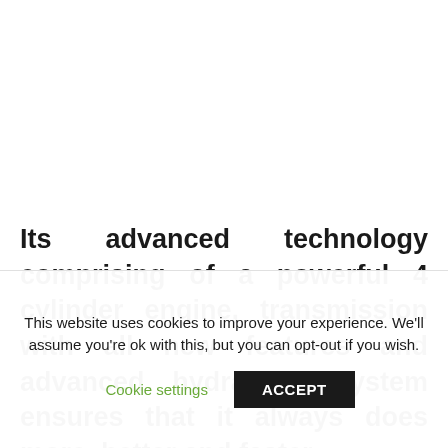Its advanced technology comprising of a powerful 4 cylinder engine, transmission with all new features and advanced hydraulics system ensures that it always does more, better and faster.
This website uses cookies to improve your experience. We'll assume you're ok with this, but you can opt-out if you wish.
Cookie settings  ACCEPT